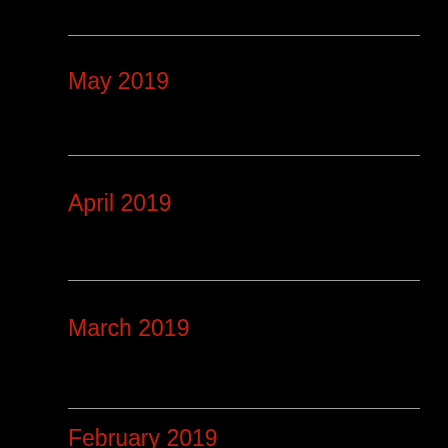May 2019
April 2019
March 2019
February 2019
January 2019
December 2018
October 2018
September 2018